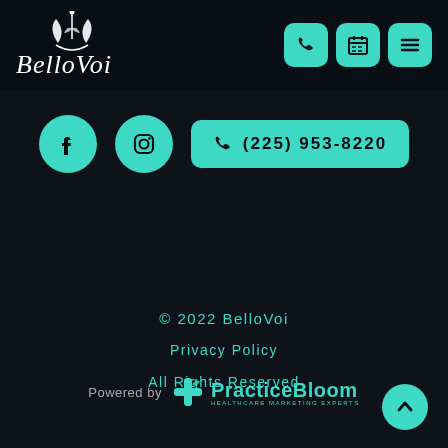[Figure (logo): BelloVoi Health & Body Sculpting logo in white italic script with leaf/floral emblem above]
[Figure (infographic): Three teal rounded square nav buttons: phone icon, calendar icon, hamburger menu icon]
[Figure (infographic): Two teal circle social icons (Facebook, Instagram) and a teal rounded rectangle phone button showing (225) 953-8220]
© 2022 BelloVoi
Privacy Policy
All Rights Reserved
[Figure (logo): PracticeBloom logo with cross/leaf icon, teal text, subtitle: HEALTHCARE MARKETING EXPERTS]
Powered by
[Figure (infographic): Teal circle scroll-to-top button with upward chevron]